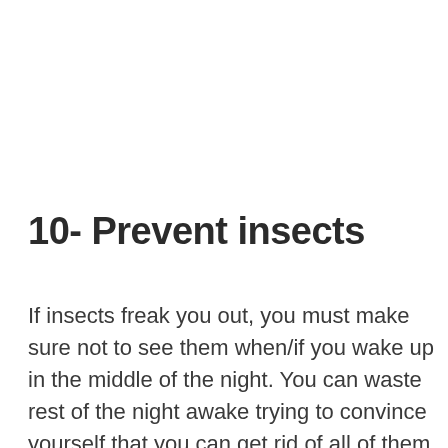10- Prevent insects
If insects freak you out, you must make sure not to see them when/if you wake up in the middle of the night. You can waste rest of the night awake trying to convince yourself that you can get rid of all of them only to end up completely sleepless and literally ruin your hiking/camping experience. We